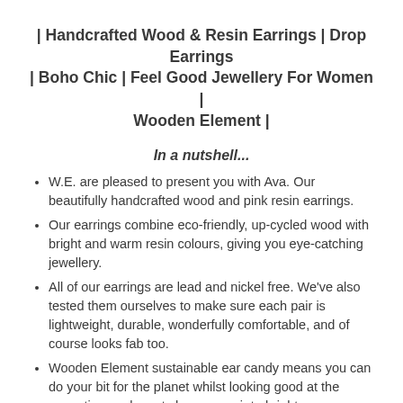| Handcrafted Wood & Resin Earrings | Drop Earrings | Boho Chic | Feel Good Jewellery For Women | Wooden Element |
In a nutshell...
W.E. are pleased to present you with Ava. Our beautifully handcrafted wood and pink resin earrings.
Our earrings combine eco-friendly, up-cycled wood with bright and warm resin colours, giving you eye-catching jewellery.
All of our earrings are lead and nickel free. We've also tested them ourselves to make sure each pair is lightweight, durable, wonderfully comfortable, and of course looks fab too.
Wooden Element sustainable ear candy means you can do your bit for the planet whilst looking good at the same time - why not choose a pair to brighten up your day?